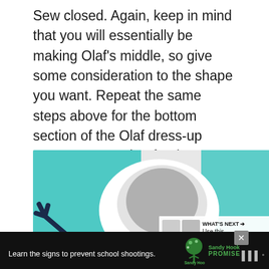Sew closed. Again, keep in mind that you will essentially be making Olaf's middle, so give some consideration to the shape you want. Repeat the same steps above for the bottom section of the Olaf dress-up costume. Note that for the bottom, you will also be forming the top part of each foot with your stitch.
[Figure (photo): Close-up photo of a child wearing an Olaf dress-up costume showing teal/turquoise fabric sections, white belly area, and a dark twig-like arm piece on the left.]
Learn the signs to prevent school shootings.